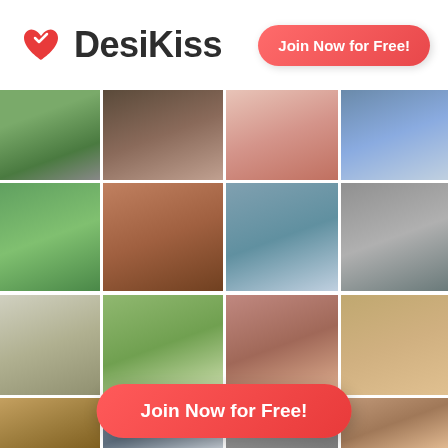[Figure (logo): DesiKiss logo with red heart icon and bold dark text 'DesiKiss']
Join Now for Free!
[Figure (photo): Collage grid of 16 profile photos of various people (men and women of South Asian and mixed backgrounds), displayed in a 4-column grid]
Join Now for Free!